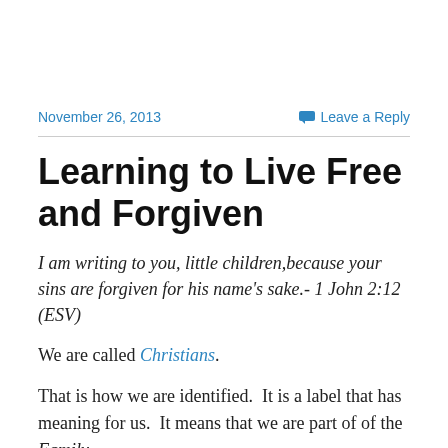November 26, 2013    Leave a Reply
Learning to Live Free and Forgiven
I am writing to you, little children,because your sins are forgiven for his name's sake.- 1 John 2:12 (ESV)
We are called Christians.
That is how we are identified.  It is a label that has meaning for us.  It means that we are part of of the Family.